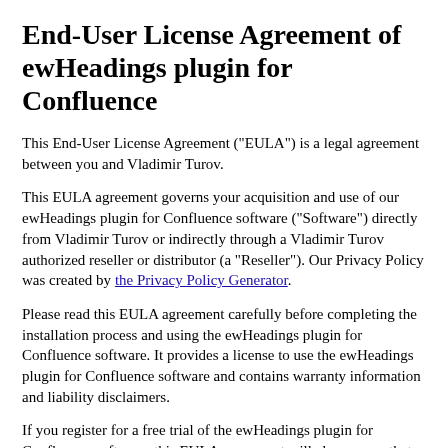End-User License Agreement of ewHeadings plugin for Confluence
This End-User License Agreement ("EULA") is a legal agreement between you and Vladimir Turov.
This EULA agreement governs your acquisition and use of our ewHeadings plugin for Confluence software ("Software") directly from Vladimir Turov or indirectly through a Vladimir Turov authorized reseller or distributor (a "Reseller"). Our Privacy Policy was created by the Privacy Policy Generator.
Please read this EULA agreement carefully before completing the installation process and using the ewHeadings plugin for Confluence software. It provides a license to use the ewHeadings plugin for Confluence software and contains warranty information and liability disclaimers.
If you register for a free trial of the ewHeadings plugin for Confluence software, this EULA agreement will also govern that trial. By clicking "accept" or installing and/or using the ewHeadings plugin for Confluence software, you are confirming your acceptance of the Software and agreeing to become bound by the terms of this EULA agreement.